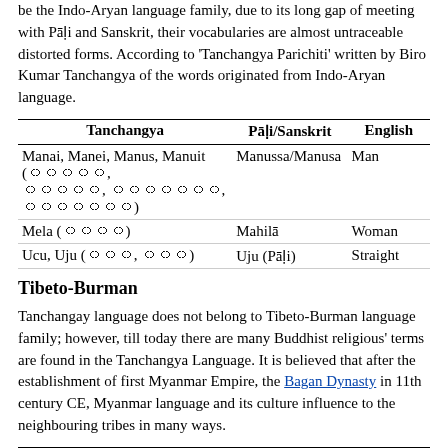be the Indo-Aryan language family, due to its long gap of meeting with Pāḷi and Sanskrit, their vocabularies are almost untraceable distorted forms. According to 'Tanchangya Parichiti' written by Biro Kumar Tanchangya of the words originated from Indo-Aryan language.
| Tanchangya | Pāḷi/Sanskrit | English |
| --- | --- | --- |
| Manai, Manei, Manus, Manuit (script) | Manussa/Manusa | Man |
| Mela (script) | Mahilā | Woman |
| Ucu, Uju (script) | Uju (Pāḷi) | Straight |
Tibeto-Burman
Tanchangay language does not belong to Tibeto-Burman language family; however, till today there are many Buddhist religious' terms are found in the Tanchangya Language. It is believed that after the establishment of first Myanmar Empire, the Bagan Dynasty in 11th century CE, Myanmar language and its culture influence to the neighbouring tribes in many ways.
| Tanchangya | Myanmar/Arakanese | English |
| --- | --- | --- |
| Pullyang/Pillang | Palawng (Burmese) | A traditional |